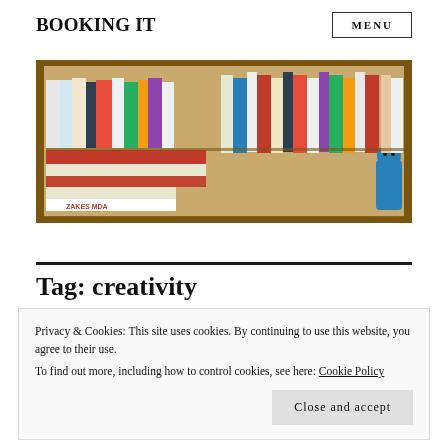BOOKING IT
[Figure (photo): A photograph of a bookshelf filled with many books of various sizes and colors, with a small blue stuffed animal on the right side. Books are arranged both vertically and horizontally. A visible book spine reads 'ZAKES MDA'.]
Tag: creativity
Privacy & Cookies: This site uses cookies. By continuing to use this website, you agree to their use.
To find out more, including how to control cookies, see here: Cookie Policy
Close and accept